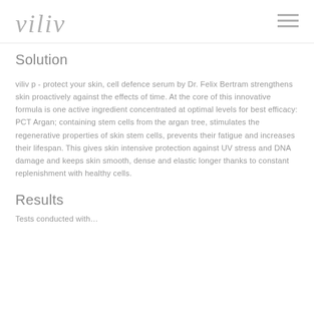viliv
Solution
viliv p - protect your skin, cell defence serum by Dr. Felix Bertram strengthens skin proactively against the effects of time. At the core of this innovative formula is one active ingredient concentrated at optimal levels for best efficacy: PCT Argan; containing stem cells from the argan tree, stimulates the regenerative properties of skin stem cells, prevents their fatigue and increases their lifespan. This gives skin intensive protection against UV stress and DNA damage and keeps skin smooth, dense and elastic longer thanks to constant replenishment with healthy cells.
Results
Tests conducted with...